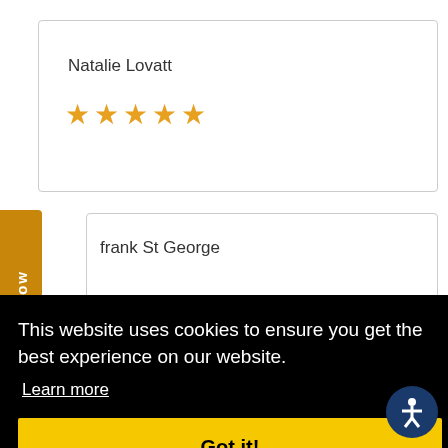Natalie Lovatt
[Figure (other): 5 gold stars rating]
frank St George
[Figure (screenshot): Cookie consent banner overlay: 'This website uses cookies to ensure you get the best experience on our website.' with 'Learn more' link and 'Got it!' button]
Very friendly staff and quality service! The